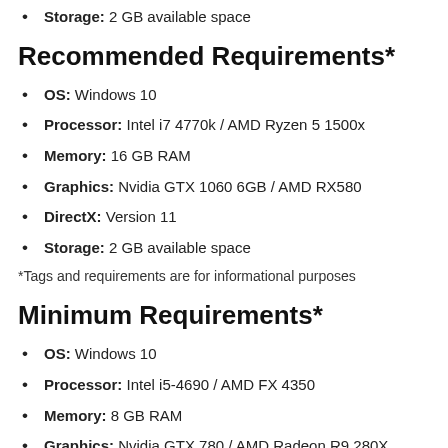Storage: 2 GB available space
Recommended Requirements*
OS: Windows 10
Processor: Intel i7 4770k / AMD Ryzen 5 1500x
Memory: 16 GB RAM
Graphics: Nvidia GTX 1060 6GB / AMD RX580
DirectX: Version 11
Storage: 2 GB available space
*Tags and requirements are for informational purposes
Minimum Requirements*
OS: Windows 10
Processor: Intel i5-4690 / AMD FX 4350
Memory: 8 GB RAM
Graphics: Nvidia GTX 780 / AMD Radeon R9 280X
DirectX: Version 11